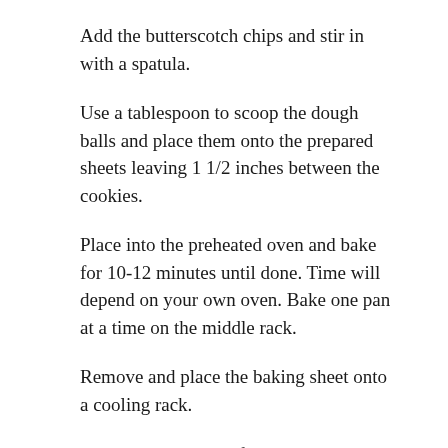Add the butterscotch chips and stir in with a spatula.
Use a tablespoon to scoop the dough balls and place them onto the prepared sheets leaving 1 1/2 inches between the cookies.
Place into the preheated oven and bake for 10-12 minutes until done. Time will depend on your own oven. Bake one pan at a time on the middle rack.
Remove and place the baking sheet onto a cooling rack.
Let the cookies cool for 5 minutes in the pans then transfer them to a cooling rack to cool completely.
Cookies will keep up to 5 days at room temperature.